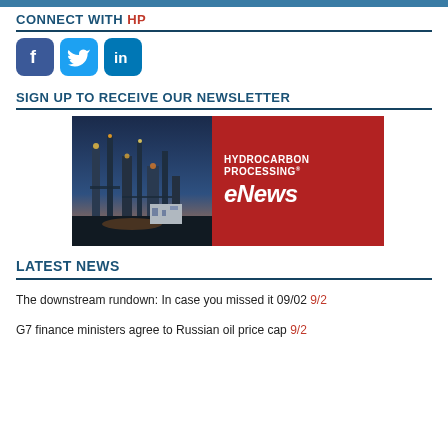CONNECT WITH HP
[Figure (illustration): Facebook, Twitter, and LinkedIn social media icons displayed as rounded square buttons in blue, cyan, and dark blue respectively]
SIGN UP TO RECEIVE OUR NEWSLETTER
[Figure (illustration): Hydrocarbon Processing eNews banner: left half shows a refinery at dusk/night, right half is red background with white text HYDROCARBON PROCESSING eNews]
LATEST NEWS
The downstream rundown: In case you missed it 09/02 9/2
G7 finance ministers agree to Russian oil price cap 9/2